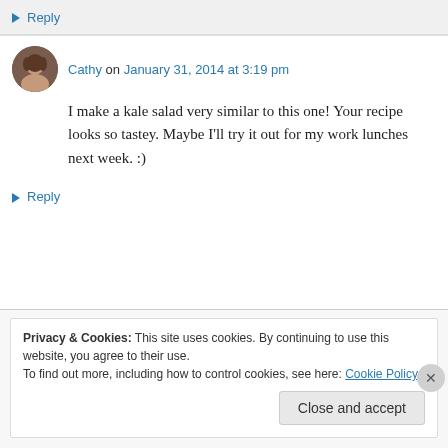↳ Reply
Cathy on January 31, 2014 at 3:19 pm
I make a kale salad very similar to this one! Your recipe looks so tastey. Maybe I'll try it out for my work lunches next week. :)
↳ Reply
Privacy & Cookies: This site uses cookies. By continuing to use this website, you agree to their use.
To find out more, including how to control cookies, see here: Cookie Policy